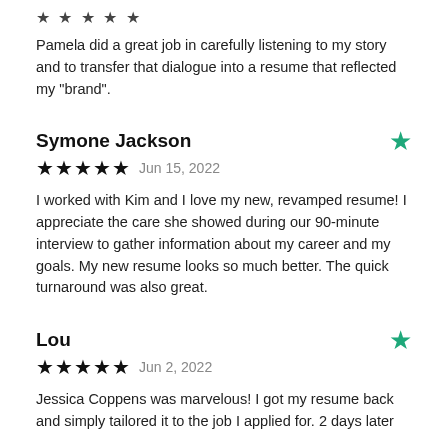★ ★ ★ ★ ★
Pamela did a great job in carefully listening to my story and to transfer that dialogue into a resume that reflected my "brand".
Symone Jackson
★★★★★  Jun 15, 2022
I worked with Kim and I love my new, revamped resume! I appreciate the care she showed during our 90-minute interview to gather information about my career and my goals. My new resume looks so much better. The quick turnaround was also great.
Lou
★★★★★  Jun 2, 2022
Jessica Coppens was marvelous! I got my resume back and simply tailored it to the job I applied for. 2 days later